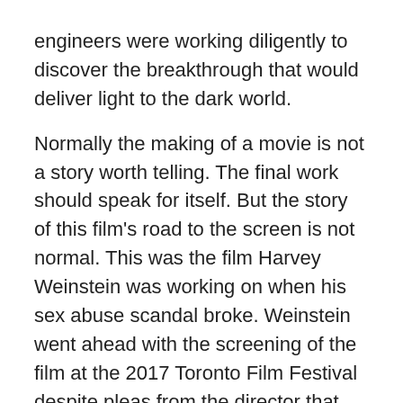engineers were working diligently to discover the breakthrough that would deliver light to the dark world.
Normally the making of a movie is not a story worth telling. The final work should speak for itself. But the story of this film's road to the screen is not normal. This was the film Harvey Weinstein was working on when his sex abuse scandal broke. Weinstein went ahead with the screening of the film at the 2017 Toronto Film Festival despite pleas from the director that the film was not ready to be shown. Once the scandal hit, director Alfonso Gomez-Rejon (the excellent ME AND EARL AND THE DYING GIRL, 2015) was helpless – he couldn't access the film for reshoots and final edit. Now, after two years of legal wranglings, he is finally able to present his finished project.
On one hand, it's a feel good story for the director. On the